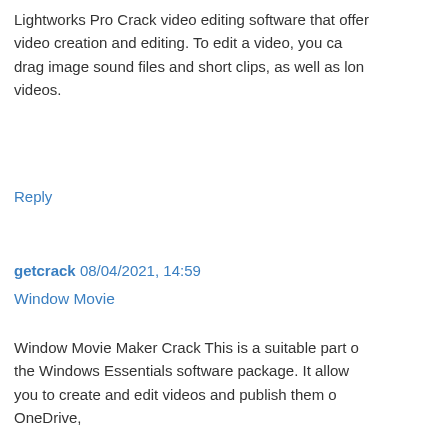Lightworks Pro Crack video editing software that offers video creation and editing. To edit a video, you can drag image sound files and short clips, as well as long videos.
Reply
getcrack 08/04/2021, 14:59
Window Movie
Window Movie Maker Crack This is a suitable part of the Windows Essentials software package. It allows you to create and edit videos and publish them on OneDrive,